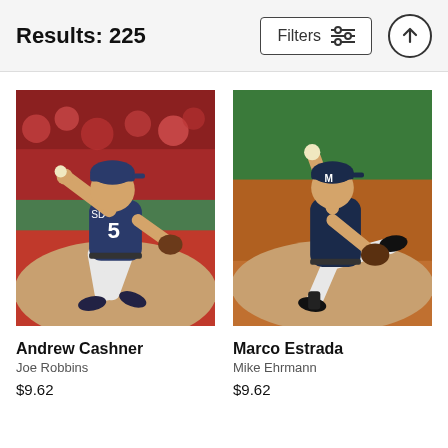Results: 225
[Figure (photo): Andrew Cashner, San Diego Padres pitcher in a throwing pose on the mound, wearing a blue Padres uniform with number 5]
Andrew Cashner
Joe Robbins
$9.62
[Figure (photo): Marco Estrada, Milwaukee Brewers pitcher in a follow-through pitching pose on the mound, wearing a dark Brewers uniform]
Marco Estrada
Mike Ehrmann
$9.62